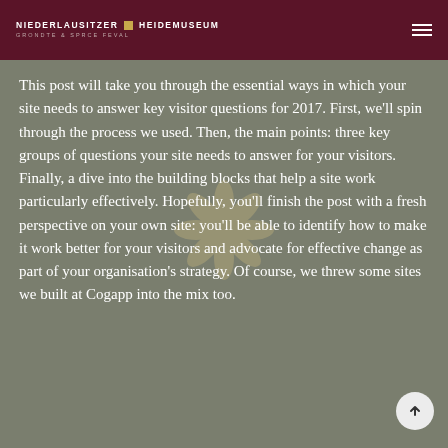NIEDERLAUSITZER HEIDEMUSEUM
[Figure (logo): Niederlausitzer Heidemuseum logo with flower/compass icon in dark red header bar]
This post will take you through the essential ways in which your site needs to answer key visitor questions for 2017. First, we'll spin through the process we used. Then, the main points: three key groups of questions your site needs to answer for your visitors. Finally, a dive into the building blocks that help a site work particularly effectively. Hopefully, you'll finish the post with a fresh perspective on your own site: you'll be able to identify how to make it work better for your visitors and advocate for effective change as part of your organisation's strategy. Of course, we threw some sites we built at Cogapp into the mix too.